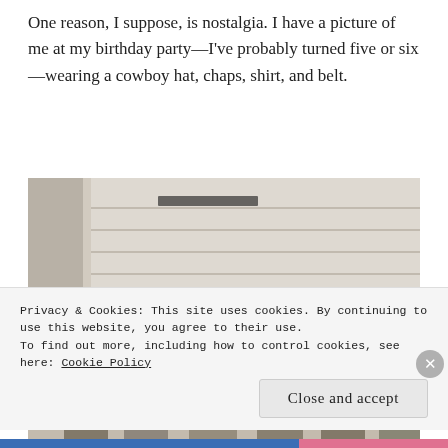One reason, I suppose, is nostalgia. I have a picture of me at my birthday party—I've probably turned five or six—wearing a cowboy hat, chaps, shirt, and belt.
[Figure (photo): Black and white vintage photograph of six children sitting in a row against a white clapboard siding wall. The child in the middle is wearing a wide-brimmed cowboy hat and a striped outfit. The others wear caps and casual clothes. All appear to be elementary school age.]
Privacy & Cookies: This site uses cookies. By continuing to use this website, you agree to their use.
To find out more, including how to control cookies, see here: Cookie Policy
Close and accept